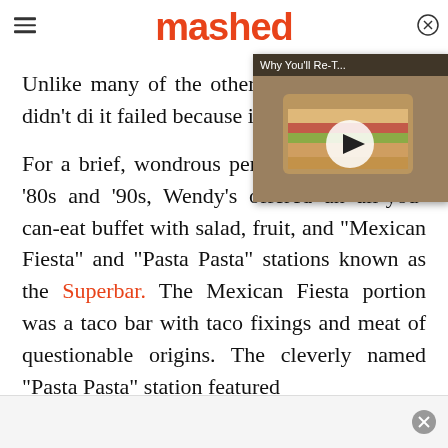mashed
[Figure (screenshot): Video overlay thumbnail showing a sandwich, titled 'Why You'll Re-T...' with a play button]
Unlike many of the other Wendy's Superbar didn't di it failed because it was too
For a brief, wondrous period during the late '80s and '90s, Wendy's offered an all-you-can-eat buffet with salad, fruit, and "Mexican Fiesta" and "Pasta Pasta" stations known as the Superbar. The Mexican Fiesta portion was a taco bar with taco fixings and meat of questionable origins. The cleverly named "Pasta Pasta" station featured